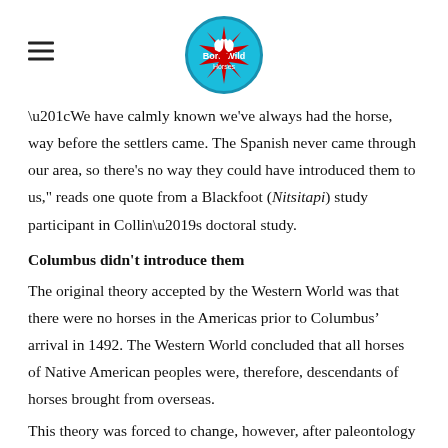[Logo: Born Wild Horses]
“We have calmly known we've always had the horse, way before the settlers came. The Spanish never came through our area, so there's no way they could have introduced them to us," reads one quote from a Blackfoot (Nitsitapi) study participant in Collin’s doctoral study.
Columbus didn't introduce them
The original theory accepted by the Western World was that there were no horses in the Americas prior to Columbus’ arrival in 1492. The Western World concluded that all horses of Native American peoples were, therefore, descendants of horses brought from overseas.
This theory was forced to change, however, after paleontology pioneer Joseph Leidy discovered horse